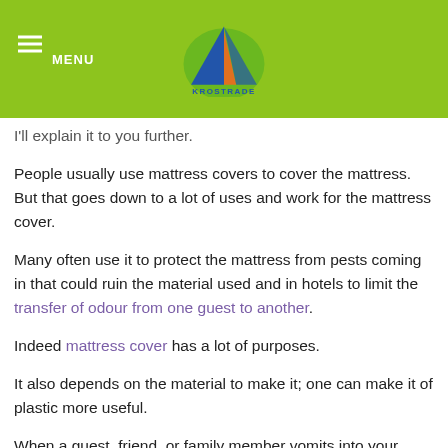MENU | KROSTRADE
I'll explain it to you further.
People usually use mattress covers to cover the mattress. But that goes down to a lot of uses and work for the mattress cover.
Many often use it to protect the mattress from pests coming in that could ruin the material used and in hotels to limit the transfer of odour from one guest to another.
Indeed mattress cover has a lot of purposes.
It also depends on the material to make it; one can make it of plastic more useful.
When a guest, friend, or family member vomits into your mattress, you'll have a hard time cleaning it. But then